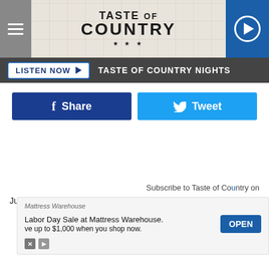Taste of Country
LISTEN NOW ▶  TASTE OF COUNTRY NIGHTS
f Share
Tweet
Subscribe to Taste of Country on
Just a   to
Mattress Warehouse
Labor Day Sale at Mattress Warehouse.
Save up to $1,000 when you shop now.
OPEN